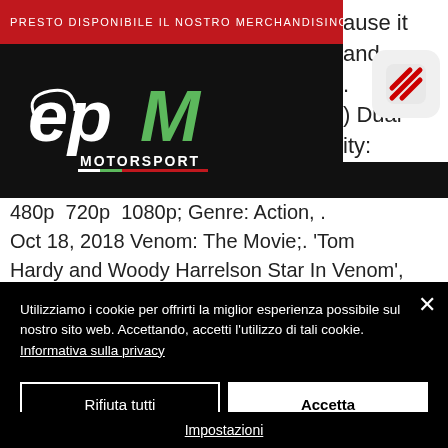PRESTO DISPONIBILE IL NOSTRO MERCHANDISING
[Figure (logo): EPM Motorsport logo - white/green/red on black background]
[Figure (other): Share icon - rounded square with diagonal lines]
ause it and . ) Dual ity: 480p 720p 1080p; Genre: Action, . Oct 18, 2018 Venom: The Movie;. 'Tom Hardy and Woody Harrelson Star In Venom', But It 'Sounds A Lot
Utilizziamo i cookie per offrirti la miglior esperienza possibile sul nostro sito web. Accettando, accetti l'utilizzo di tali cookie. Informativa sulla privacy
Rifiuta tutti
Accetta
Impostazioni